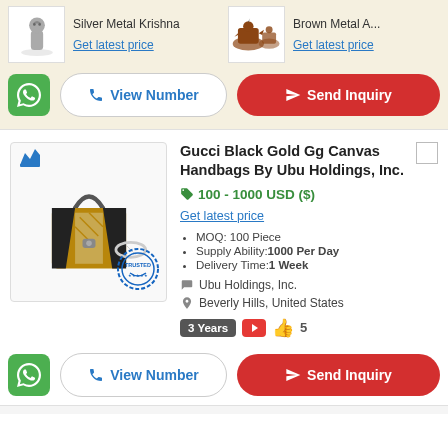Silver Metal Krishna
Get latest price
Brown Metal A...
Get latest price
View Number
Send Inquiry
Gucci Black Gold Gg Canvas Handbags By Ubu Holdings, Inc.
100 - 1000 USD ($)
Get latest price
MOQ: 100 Piece
Supply Ability:1000 Per Day
Delivery Time:1 Week
Ubu Holdings, Inc.
Beverly Hills, United States
3 Years  5
View Number
Send Inquiry